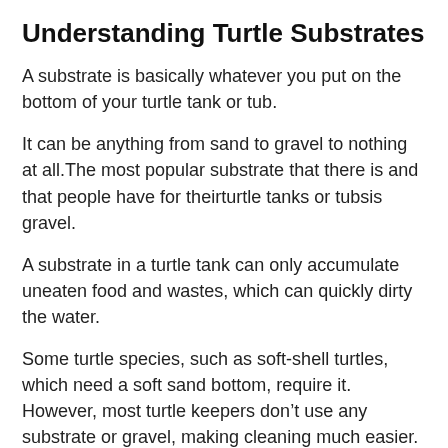Understanding Turtle Substrates
A substrate is basically whatever you put on the bottom of your turtle tank or tub.
It can be anything from sand to gravel to nothing at all.The most popular substrate that there is and that people have for theirturtle tanks or tubsis gravel.
A substrate in a turtle tank can only accumulate uneaten food and wastes, which can quickly dirty the water.
Some turtle species, such as soft-shell turtles, which need a soft sand bottom, require it. However, most turtle keepers don’t use any substrate or gravel, making cleaning much easier.
On the other hand, if a bare-bottom tank is not aesthetically pleasing to you, you are free to decorate it, but just be prepared for more frequent